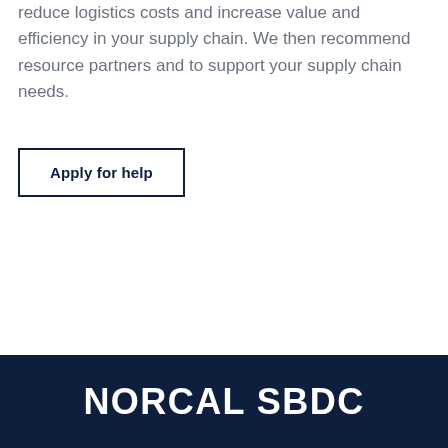reduce logistics costs and increase value and efficiency in your supply chain. We then recommend resource partners and to support your supply chain needs.
Apply for help
NORCAL SBDC